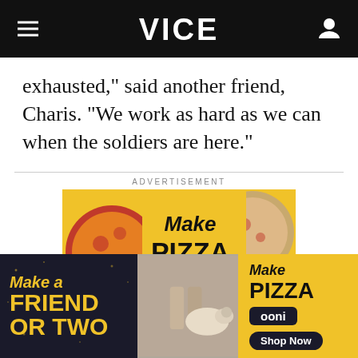VICE
exhausted," said another friend, Charis. "We work as hard as we can when the soldiers are here."
[Figure (photo): Advertisement banner: 'Make Pizza' - Ooni pizza oven ad showing two pizzas on yellow background]
[Figure (photo): Advertisement banner: 'Make a Friend or Two' and 'Make Pizza - Ooni - Shop Now' - Ooni pizza oven ad with people and dogs]